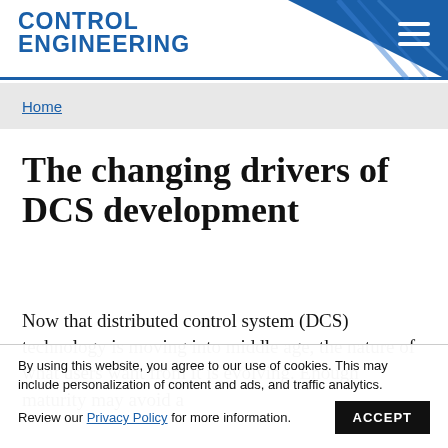Control Engineering
Home
The changing drivers of DCS development
Now that distributed control system (DCS) technology is moving into middle age, the nature of what users want from it is evolving. Enough maturity may avoid a
By using this website, you agree to our use of cookies. This may include personalization of content and ads, and traffic analytics. Review our Privacy Policy for more information. ACCEPT